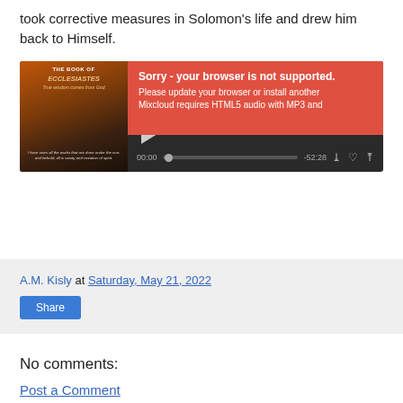took corrective measures in Solomon's life and drew him back to Himself.
[Figure (screenshot): Mixcloud audio player for 'The Book of Ecclesiastes' showing a browser-not-supported error overlay in red reading 'Sorry - your browser is not supported. Please update your browser or install another. Mixcloud requires HTML5 audio with MP3 and...' with play button, progress bar showing 00:00 / -52:28]
A.M. Kisly at Saturday, May 21, 2022
Share
No comments:
Post a Comment